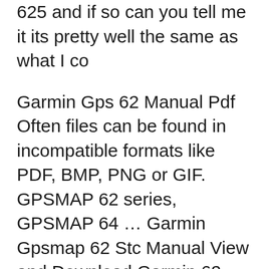625 and if so can you tell me it its pretty well the same as what I co
Garmin Gps 62 Manual Pdf Often files can be found in incompatible formats like PDF, BMP, PNG or GIF. GPSMAP 62 series, GPSMAP 64 … Garmin Gpsmap 62 Stc Manual View and Download Garmin 62 quick start manual online. Garmin GPS Receiver User Garmin GPSMAP 62STC Owner's Manual …
Garmin Gpsmap 62 Manual The GPSMAP 62stc handheld navigator from Garmin features a 3-axis tilt-compensated compass, a barometric altimeter, 5 megapixel autofocus camera. GPSMAP® 62 series owner's manual For use with